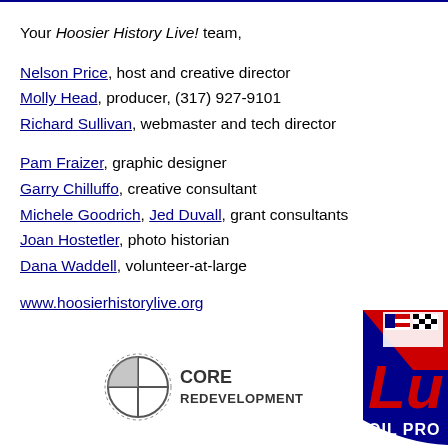Your Hoosier History Live! team,
Nelson Price, host and creative director
Molly Head, producer, (317) 927-9101
Richard Sullivan, webmaster and tech director
Pam Fraizer, graphic designer
Garry Chilluffo, creative consultant
Michele Goodrich, Jed Duvall, grant consultants
Joan Hostetler, photo historian
Dana Waddell, volunteer-at-large
www.hoosierhistorylive.org
[Figure (logo): Core Redevelopment logo with circular crosshair icon]
[Figure (logo): Lucas Oil Products Inc. partial logo (cropped), red and blue shield with flags]